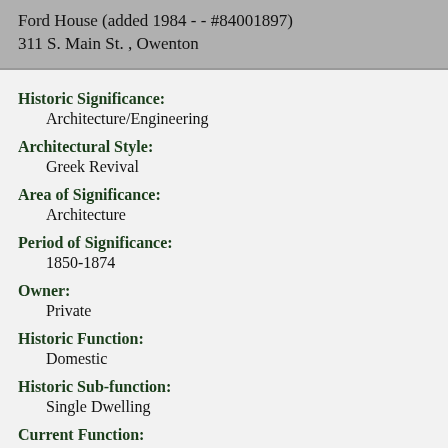Ford House (added 1984 - - #84001897)
311 S. Main St. , Owenton
Historic Significance:
Architecture/Engineering
Architectural Style:
Greek Revival
Area of Significance:
Architecture
Period of Significance:
1850-1874
Owner:
Private
Historic Function:
Domestic
Historic Sub-function:
Single Dwelling
Current Function:
Domestic